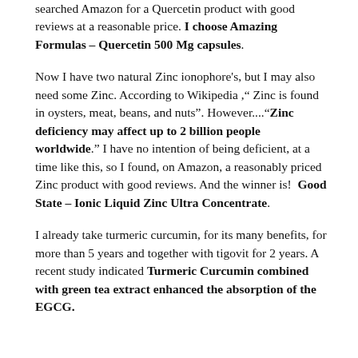searched Amazon for a Quercetin product with good reviews at a reasonable price. I choose Amazing Formulas – Quercetin 500 Mg capsules.
Now I have two natural Zinc ionophore's, but I may also need some Zinc. According to Wikipedia ," Zinc is found in oysters, meat, beans, and nuts". However...."Zinc deficiency may affect up to 2 billion people worldwide." I have no intention of being deficient, at a time like this, so I found, on Amazon, a reasonably priced Zinc product with good reviews. And the winner is!  Good State – Ionic Liquid Zinc Ultra Concentrate.
I already take turmeric curcumin, for its many benefits, for more than 5 years and together with tigovit for 2 years. A recent study indicated Turmeric Curcumin combined with green tea extract enhanced the absorption of the EGCG.